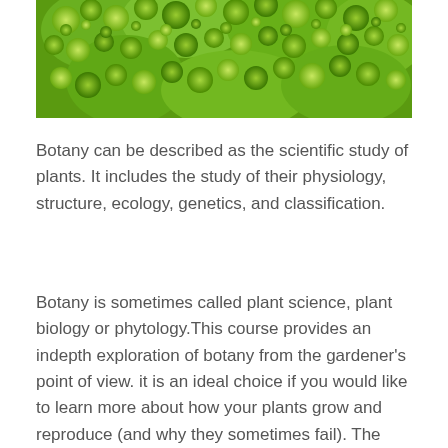[Figure (photo): Close-up photograph of green romanesco broccoli / fractal cauliflower showing detailed spiral patterns]
Botany can be described as the scientific study of plants. It includes the study of their physiology, structure, ecology, genetics, and classification.
Botany is sometimes called plant science, plant biology or phytology.This course provides an indepth exploration of botany from the gardener's point of view. it is an ideal choice if you would like to learn more about how your plants grow and reproduce (and why they sometimes fail). The course is also a useful